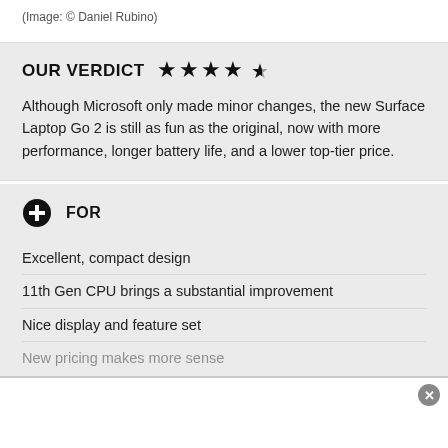(Image: © Daniel Rubino)
OUR VERDICT ★★★★½
Although Microsoft only made minor changes, the new Surface Laptop Go 2 is still as fun as the original, now with more performance, longer battery life, and a lower top-tier price.
⊕ FOR
Excellent, compact design
11th Gen CPU brings a substantial improvement
Nice display and feature set
New pricing makes more sense